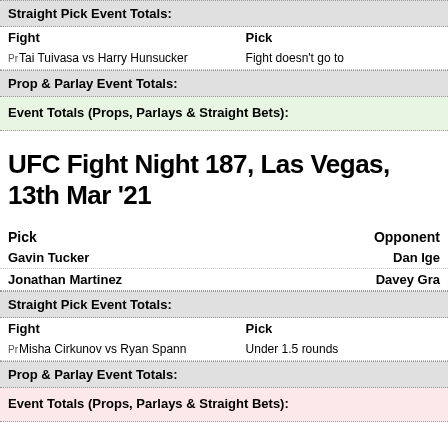Straight Pick Event Totals:
| Fight | Pick |
| --- | --- |
| Pr Tai Tuivasa vs Harry Hunsucker | Fight doesn't go to |
Prop & Parlay Event Totals:
Event Totals (Props, Parlays & Straight Bets):
UFC Fight Night 187, Las Vegas, 13th Mar '21
| Pick | Opponent |
| --- | --- |
| Gavin Tucker | Dan Ige |
| Jonathan Martinez | Davey Gra... |
Straight Pick Event Totals:
| Fight | Pick |
| --- | --- |
| Pr Misha Cirkunov vs Ryan Spann | Under 1.5 rounds |
Prop & Parlay Event Totals:
Event Totals (Props, Parlays & Straight Bets):